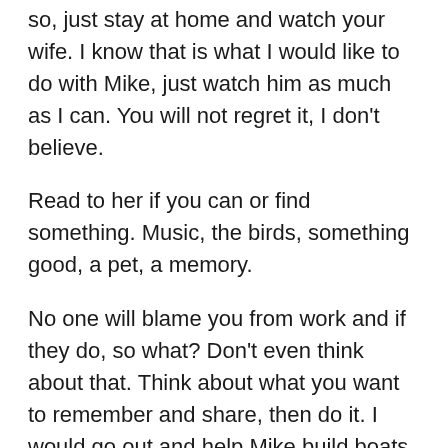so, just stay at home and watch your wife. I know that is what I would like to do with Mike, just watch him as much as I can. You will not regret it, I don't believe.
Read to her if you can or find something. Music, the birds, something good, a pet, a memory.
No one will blame you from work and if they do, so what? Don't even think about that. Think about what you want to remember and share, then do it. I would go out and help Mike build boats if I could, which I can actually but not well as he.